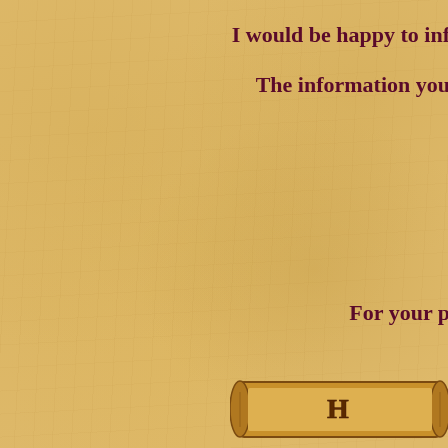I would be happy to inf
The information you
For your p
♦
[Figure (illustration): Decorative scroll/banner illustration with letter H, parchment style, brown tones]